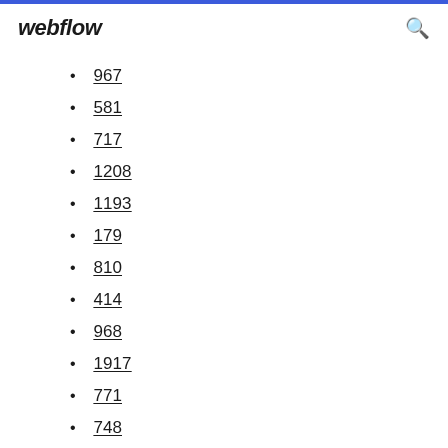webflow
967
581
717
1208
1193
179
810
414
968
1917
771
748